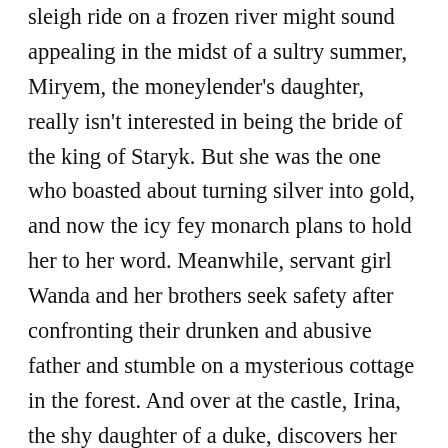sleigh ride on a frozen river might sound appealing in the midst of a sultry summer, Miryem, the moneylender's daughter, really isn't interested in being the bride of the king of Staryk. But she was the one who boasted about turning silver into gold, and now the icy fey monarch plans to hold her to her word. Meanwhile, servant girl Wanda and her brothers seek safety after confronting their drunken and abusive father and stumble on a mysterious cottage in the forest. And over at the castle, Irina, the shy daughter of a duke, discovers her new husband the tsar is literally possessed by a powerful fire demon. Novik, who also wrote the fantastic Uprooted, masterfully weaves these stories into a rich and original tapestry, drawing threads from classic fairy tales, medieval folklore and her own Russian Jewish heritage. What's lost, even after the most...